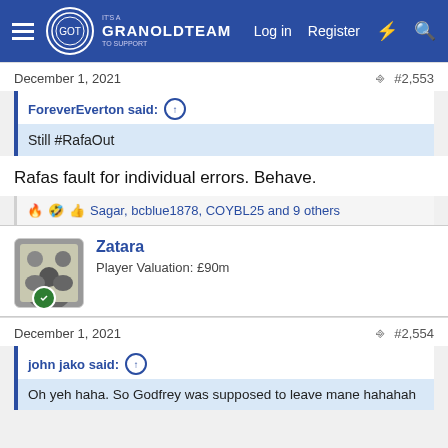GranOldTeam – Log in | Register
December 1, 2021   #2,553
ForeverEverton said: ↑
Still #RafaOut
Rafas fault for individual errors. Behave.
🔥 🤣 👍 Sagar, bcblue1878, COYBL25 and 9 others
Zatara
Player Valuation: £90m
December 1, 2021   #2,554
john jako said: ↑
Oh yeh haha. So Godfrey was supposed to leave mane hahahah